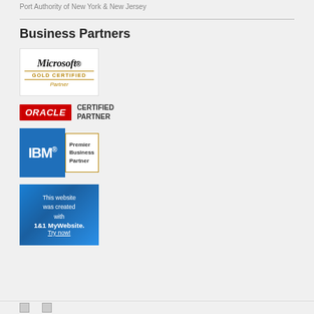Port Authority of New York & New Jersey
Business Partners
[Figure (logo): Microsoft Gold Certified Partner logo — black italic Microsoft wordmark with gold 'GOLD CERTIFIED' band and gold italic 'Partner' text on white background with border]
[Figure (logo): Oracle Certified Partner logo — red box with white italic ORACLE text, next to bold black 'CERTIFIED PARTNER' text]
[Figure (logo): IBM Premier Business Partner logo — blue IBM letters on blue background beside gold-bordered 'Premier Business Partner' text]
[Figure (illustration): 1&1 MyWebsite promotional banner — blue gradient background with white text 'This website was created with 1&1 MyWebsite. Try now!']